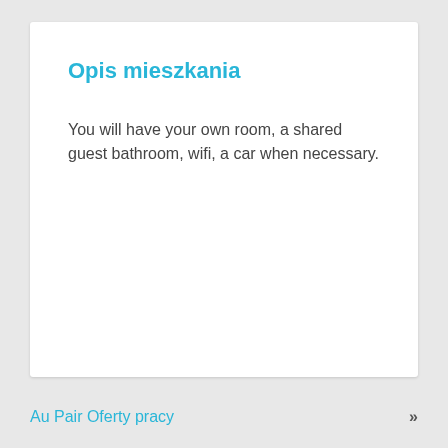Opis mieszkania
You will have your own room, a shared guest bathroom, wifi, a car when necessary.
Au Pair Oferty pracy »